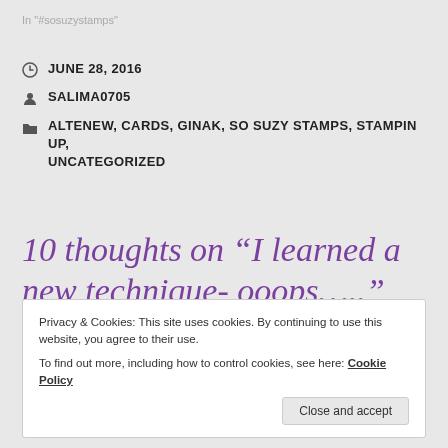In "#sosuzystamps"
JUNE 28, 2016
SALIMA0705
ALTENEW, CARDS, GINAK, SO SUZY STAMPS, STAMPIN UP, UNCATEGORIZED
10 thoughts on “I learned a new technique- ooops…..”
Privacy & Cookies: This site uses cookies. By continuing to use this website, you agree to their use.
To find out more, including how to control cookies, see here: Cookie Policy
Close and accept